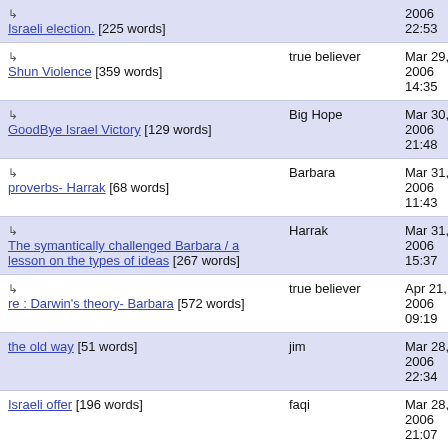| Title | Author | Date |
| --- | --- | --- |
| ↳ Israeli election. [225 words] |  | 2006 22:53 |
| ↳ Shun Violence [359 words] | true believer | Mar 29, 2006 14:35 |
| ↳ GoodBye Israel Victory [129 words] | Big Hope | Mar 30, 2006 21:48 |
| ↳ proverbs- Harrak [68 words] | Barbara | Mar 31, 2006 11:43 |
| ↳ The symantically challenged Barbara / a lesson on the types of ideas [267 words] | Harrak | Mar 31, 2006 15:37 |
| ↳ re : Darwin's theory- Barbara [572 words] | true believer | Apr 21, 2006 09:19 |
| the old way [51 words] | jim | Mar 28, 2006 22:34 |
| Israeli offer [196 words] | faqi | Mar 28, 2006 21:07 |
| ↳ | Blackspeare | Mar 28, |